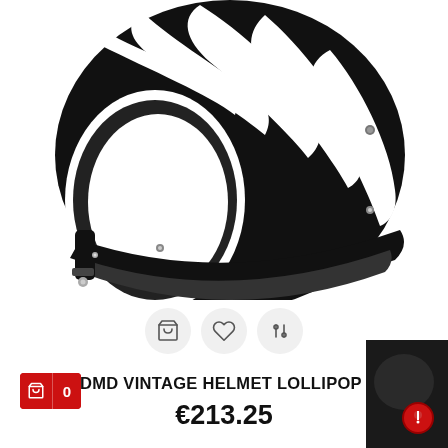[Figure (photo): Black and white striped open-face motorcycle helmet (DMD Vintage Helmet Lollipop) shown from the side against a white background. The helmet features bold swirling black and white stripes in a lollipop pattern.]
[Figure (infographic): Three circular icon buttons: shopping bag, heart/wishlist, and settings/sliders icons]
DMD VINTAGE HELMET LOLLIPOP
€213.25
[Figure (photo): Small dark thumbnail image in bottom right corner showing a red circular logo/badge on dark background]